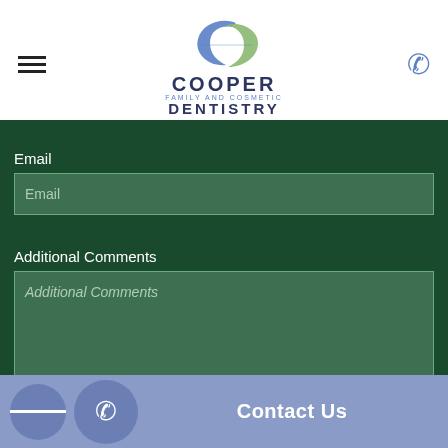[Figure (logo): Cooper Family and Cosmetic Dentistry logo with stylized C shapes in blue and green]
Email
Email (placeholder)
Additional Comments
Additional Comments (placeholder, italic)
Contact Us